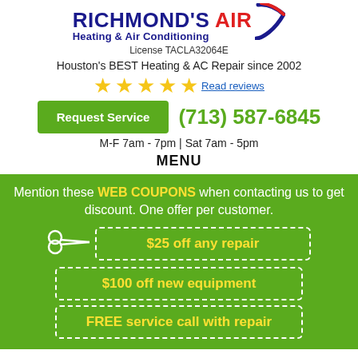[Figure (logo): Richmond's Air Heating & Air Conditioning logo with blue and red text and decorative swish]
License TACLA32064E
Houston's BEST Heating & AC Repair since 2002
[Figure (infographic): Five yellow star rating with Read reviews link]
[Figure (infographic): Green Request Service button and phone number (713) 587-6845]
M-F 7am - 7pm | Sat 7am - 5pm
MENU
Mention these WEB COUPONS when contacting us to get discount. One offer per customer.
$25 off any repair
$100 off new equipment
FREE service call with repair